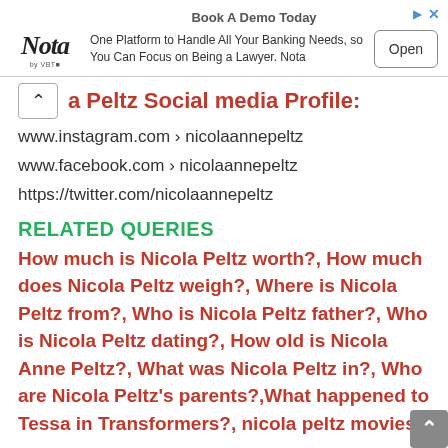[Figure (other): Advertisement banner for Nota banking platform. Title: 'Book A Demo Today'. Logo: Nota by VBT. Description: 'One Platform to Handle All Your Banking Needs, so You Can Focus on Being a Lawyer. Nota'. Button: 'Open'.]
a Peltz Social media Profile:
www.instagram.com › nicolaannepeltz
www.facebook.com › nicolaannepeltz
https://twitter.com/nicolaannepeltz
RELATED QUERIES
How much is Nicola Peltz worth?, How much does Nicola Peltz weigh?, Where is Nicola Peltz from?, Who is Nicola Peltz father?, Who is Nicola Peltz dating?, How old is Nicola Anne Peltz?, What was Nicola Peltz in?, Who are Nicola Peltz's parents?,What happened to Tessa in Transformers?, nicola peltz movies,